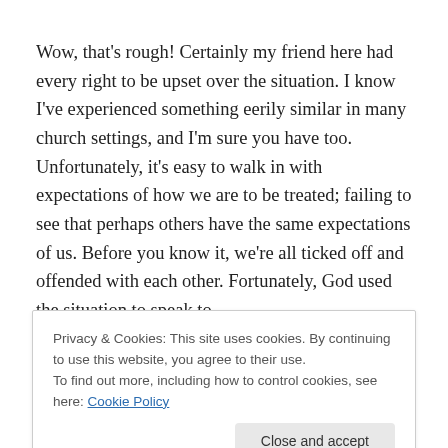Wow, that's rough! Certainly my friend here had every right to be upset over the situation. I know I've experienced something eerily similar in many church settings, and I'm sure you have too. Unfortunately, it's easy to walk in with expectations of how we are to be treated; failing to see that perhaps others have the same expectations of us. Before you know it, we're all ticked off and offended with each other. Fortunately, God used the situation to speak to
Privacy & Cookies: This site uses cookies. By continuing to use this website, you agree to their use.
To find out more, including how to control cookies, see here: Cookie Policy
came to see something. It's not the people around me who